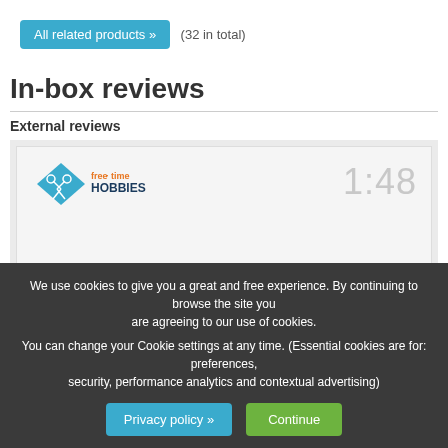All related products » (32 in total)
In-box reviews
External reviews
[Figure (screenshot): Free Time Hobbies logo with a video thumbnail showing timestamp 1:48]
We use cookies to give you a great and free experience. By continuing to browse the site you are agreeing to our use of cookies. You can change your Cookie settings at any time. (Essential cookies are for: preferences, security, performance analytics and contextual advertising)
Privacy policy »
Continue